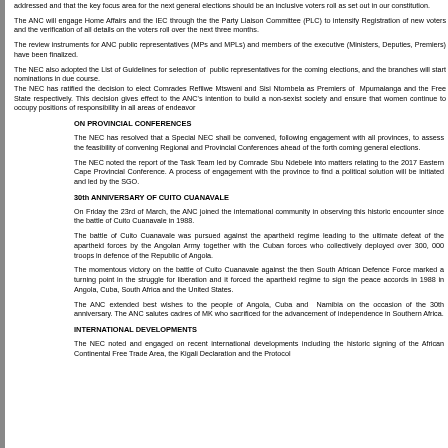addressed and that the key focus area for the next general elections should be an inclusive voters roll as set out in our constitution.
The ANC will engage Home Affairs and the IEC through the the Party Liaison Committee (PLC) to intensify Registration of new voters and the verification of all details on the voters roll over the next three months.
The review instruments for ANC public representatives (MPs and MPLs) and members of the executive (Ministers, Deputies, Premiers) have been finalized.
The NEC also adopted the List of Guidelines for selection of public representatives for the coming elections, and the branches will start nominations in due course. The NEC has ratified the decision to elect Comrades Refilwe Mtsweni and Sisi Ntombela as Premiers of Mpumalanga and the Free State respectively. This decision gives effect to the ANC's intention to build a non-sexist society and ensure that women continue to occupy positions of responsibility in all areas of endeavor
ON PROVINCIAL CONFERENCES
The NEC has resolved that a Special NEC shall be convened, following engagement with all provinces, to assess the feasibility of convening Regional and Provincial Conferences ahead of the forth coming general elections.
The NEC noted the report of the Task Team led by Comrade Sbu Ndebele into matters relating to the 2017 Eastern Cape Provincial Conference. A process of engagement with the province to find a political solution will be initiated and led by the SGO.
30th ANNIVERSARY OF CUITO CUANAVALE
On Friday the 23rd of March, the ANC joined the international community in observing this historic encounter since the battle of Cuito Cuanavale in 1988.
The battle of Cuito Cuanavale was pursued against the apartheid regime leading to the ultimate defeat of the apartheid forces by the Angolan Army together with the Cuban forces who collectively deployed over 300, 000 troops in defence of the Republic of Angola.
The momentous victory on the battle of Cuito Cuanavale against the then South African Defence Force marked a turning point in the struggle for liberation and it forced the apartheid regime to sign the peace accords in 1988 in Angola, Cuba, South Africa and the United States.
The ANC extended best wishes to the people of Angola, Cuba and Namibia on the occasion of the 30th anniversary. The ANC salutes cadres of MK who sacrificed for the advancement of independence in Southern Africa.
INTERNATIONAL DEVELOPMENTS
The NEC noted and engaged on recent international developments including the historic signing of the African Continental Free Trade Area, the Kigali Declaration and the Protocol